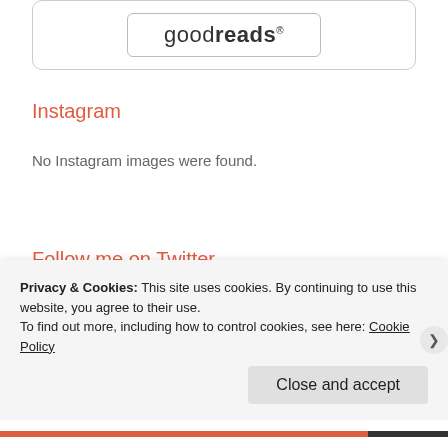[Figure (logo): Goodreads logo inside a rounded rectangle widget box]
Instagram
No Instagram images were found.
Follow me on Twitter
[Figure (screenshot): Twitter widget showing 'Tweets from @thatluu' with a Follow button]
Privacy & Cookies: This site uses cookies. By continuing to use this website, you agree to their use.
To find out more, including how to control cookies, see here: Cookie Policy
Close and accept